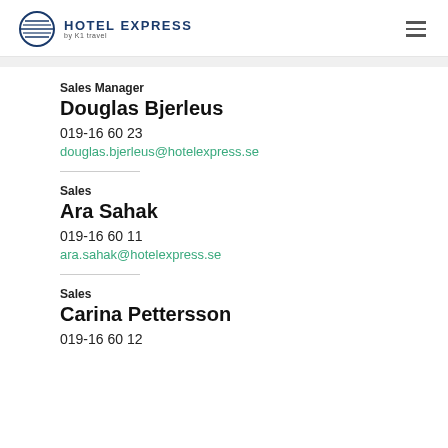Hotel Express by K1 travel
Sales Manager
Douglas Bjerleus
019-16 60 23
douglas.bjerleus@hotelexpress.se
Sales
Ara Sahak
019-16 60 11
ara.sahak@hotelexpress.se
Sales
Carina Pettersson
019-16 60 12